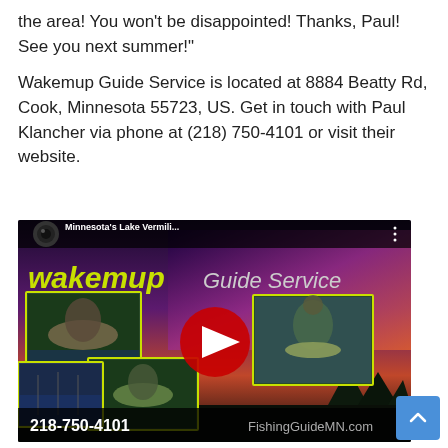the area! You won't be disappointed! Thanks, Paul! See you next summer!"
Wakemup Guide Service is located at 8884 Beatty Rd, Cook, Minnesota 55723, US. Get in touch with Paul Klancher via phone at (218) 750-4101 or visit their website.
[Figure (screenshot): YouTube video thumbnail for Wakemup Guide Service showing Minnesota's Lake Vermilion fishing guide service. Features fishing photos, the Wakemup Guide Service logo, a YouTube play button, phone number 218-750-4101, and website FishingGuideMN.com]